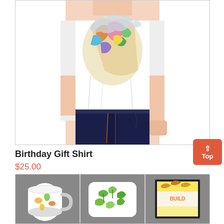[Figure (photo): Person wearing a white t-shirt with colorful graphic print, paired with dark navy jeans, shown from neck to knees on white background]
Birthday Gift Shirt
$25.00
This mini-tee for your bouncing baby...
[Figure (photo): Three product images in a row: a white mug with orange/yellow floral pattern on gray background, a decorative pillow with green leaf pattern on gray background, and a framed artwork with yellow/orange pattern on gray background]